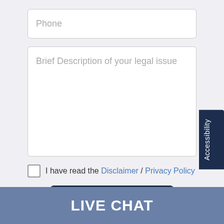Phone
Brief Description of your legal issue
I have read the Disclaimer / Privacy Policy
Get Help Now
Accessibility
LIVE CHAT